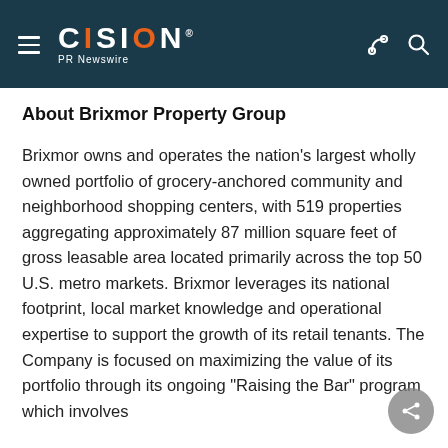CISION PR Newswire
About Brixmor Property Group
Brixmor owns and operates the nation's largest wholly owned portfolio of grocery-anchored community and neighborhood shopping centers, with 519 properties aggregating approximately 87 million square feet of gross leasable area located primarily across the top 50 U.S. metro markets. Brixmor leverages its national footprint, local market knowledge and operational expertise to support the growth of its retail tenants. The Company is focused on maximizing the value of its portfolio through its ongoing "Raising the Bar" program which involves